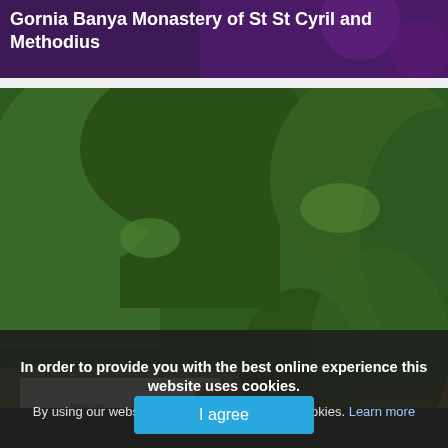Gornia Banya Monastery of St St Cyril and Methodius
[Figure (photo): Monastery entrance gate with wooden arched door in white wall, large wooden pergola/carport structure, surrounded by green trees]
Gorni Bogrov Monastery of St George the Vict...
In order to provide you with the best online experience this website uses cookies.
By using our website, you agree to our use of cookies. Learn more
I agree